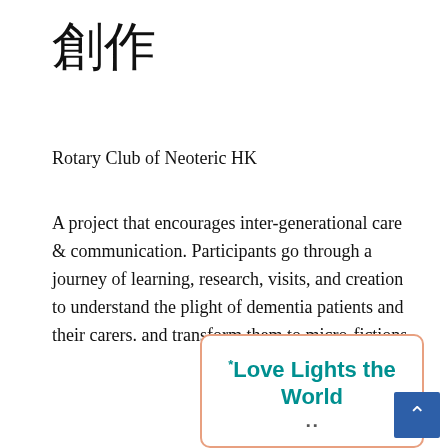創作
Rotary Club of Neoteric HK
A project that encourages inter-generational care & communication. Participants go through a journey of learning, research, visits, and creation to understand the plight of dementia patients and their carers. and transform them to micro-fictions.
[Figure (photo): Partially visible banner with text 'Love Lights the World' in teal/dark cyan bold font on white background with orange rounded border, clipped at bottom of page. A blue scroll-to-top button with up-arrow chevron is overlaid at bottom right.]